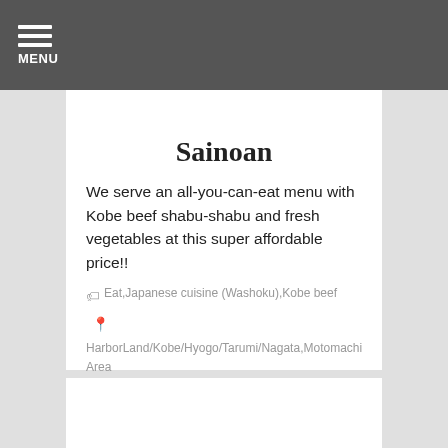MENU
Sainoan
We serve an all-you-can-eat menu with Kobe beef shabu-shabu and fresh vegetables at this super affordable price!!
Eat,Japanese cuisine (Washoku),Kobe beef  HarborLand/Kobe/Hyogo/Tarumi/Nagata,Motomachi Area
Details